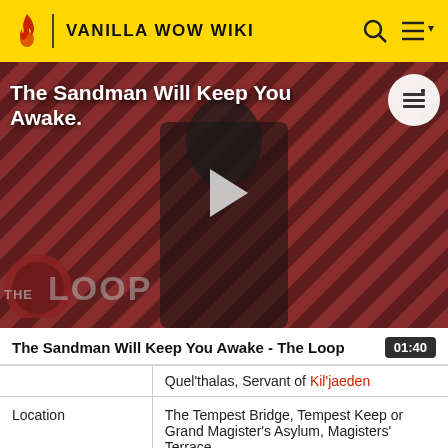VANILLA WOW WIKI
[Figure (screenshot): Video thumbnail showing a dark-robed figure against a striped red/dark background with 'THE LOOP' overlay text and a play button. Title text reads 'The Sandman Will Keep You Awake.']
The Sandman Will Keep You Awake - The Loop
|  | Quel'thalas, Servant of Kil'jaeden |
| Location | The Tempest Bridge, Tempest Keep or Grand Magister's Asylum, Magisters' Terrace |